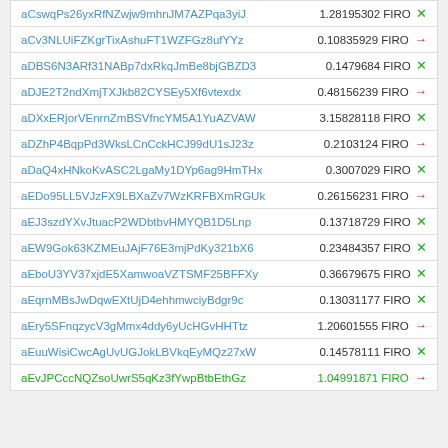| Address | Value | Currency | Status |
| --- | --- | --- | --- |
| aCswqPs26yxRfNZwjw9mhnJM7AZPqa3yiJ | 1.28195302 | FIRO | ✕ |
| aCv3NLUiFZKgrTixAshuFT1WZFGz8ufYYz | 0.10835929 | FIRO | → |
| aDBS6N3ARf31NABp7dxRkqJmBe8bjGBZD3 | 0.1479684 | FIRO | ✕ |
| aDJE2T2ndXmjTXJkb82CYSEy5Xf6vtexdx | 0.48156239 | FIRO | → |
| aDXxERjorVEnrnZmBSVfncYM5A1YuAZVAW | 3.15828118 | FIRO | ✕ |
| aDZhP4BqpPd3WksLCnCckHCJ99dU1sJ23z | 0.2103124 | FIRO | → |
| aDaQ4xHNkoKvASC2LgaMy1DYp6ag9HmTHx | 0.3007029 | FIRO | ✕ |
| aEDo95LL5VJzFX9LBXaZv7WzKRFBXmRGUk | 0.26156231 | FIRO | → |
| aEJ3szdYXvJtuacP2WDbtbvHMYQB1D5Lnp | 0.13718729 | FIRO | ✕ |
| aEW9Gok63KZMEuJAjF76E3mjPdKy321bX6 | 0.23484357 | FIRO | ✕ |
| aEboU3YV37xjdE5XamwoaVZTSMF25BFFXy | 0.36679675 | FIRO | ✕ |
| aEqrnMBsJwDqwEXtUjD4ehhmwciyBdgr9c | 0.13031177 | FIRO | ✕ |
| aEry5SFnqzycV3gMmx4ddy6yUcHGvHHTtz | 1.20601555 | FIRO | → |
| aEuuWisiCwcAgUvUGJokLBVkqEyMQz27xW | 0.14578111 | FIRO | ✕ |
| aEvJPCccNQZsoUwrS5qKz3fYwpBtbEthGz | 1.04991871 | FIRO | → |